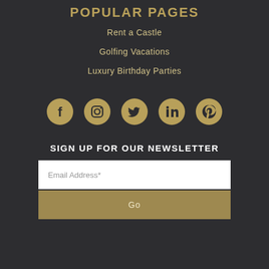POPULAR PAGES
Rent a Castle
Golfing Vacations
Luxury Birthday Parties
[Figure (illustration): Five social media icons in gold circles: Facebook, Instagram, Twitter, LinkedIn, Pinterest]
SIGN UP FOR OUR NEWSLETTER
Email Address*
Go